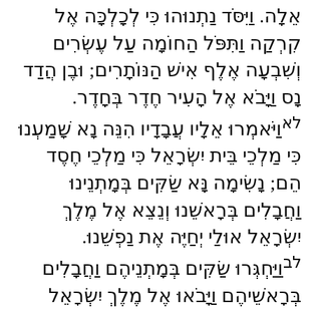אֵלָה. וַיִּסֹּד נַתְנוּהוּ כִּי לְכָלְכָּה אֶל קִרְקַה וַתִּפֹּל הַחוֹמָה עַל עֶשְׂרִים וְשִׁבְעָה אֶלֶף אִישׁ הַנּוֹתָרִים; וּבֶן הֲדַד נָס וַיָּבֹא אֶל הָעִיר חֶדֶר בְּחָדֶר. לאוַיֹּאמְרוּ אֵלָיו עֲבָדָיו הִנֵּה נָא שָׁמַעְנוּ כִּי מַלְכֵי בֵּית יִשְׂרָאֵל כִּי מַלְכֵי חֶסֶד הֵם; נָשִׂימָה נָּא שַׂקִּים בְּמָתְנֵינוּ וַחֲבָלִים בְּרָאשֵׁנוּ וְנֵצֵא אֶל מֶלֶךְ יִשְׂרָאֵל אוּלַי יְחַיֶּה אֶת נַפְשֵׁנוּ. לבוַיַּחְגְּרוּ שַׂקִּים בְּמָתְנֵיהֶם וַחֲבָלִים בְּרָאשֵׁיהֶם וַיָּבֹאוּ אֶל מֶלֶךְ יִשְׂרָאֵל וַיֹּאמְרוּ עַבְדְּךָ בֶן הֲדַד אָמַר תְּחִי נָא נַפְשִׁי; וַיֹּאמֶר הַעוֹדֶנּוּ חַי אָחִי הוּא.